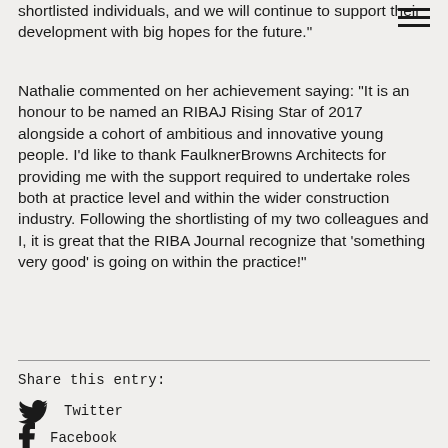shortlisted individuals, and we will continue to support their development with big hopes for the future."
Nathalie commented on her achievement saying: “It is an honour to be named an RIBAJ Rising Star of 2017 alongside a cohort of ambitious and innovative young people. I’d like to thank FaulknerBrowns Architects for providing me with the support required to undertake roles both at practice level and within the wider construction industry. Following the shortlisting of my two colleagues and I, it is great that the RIBA Journal recognize that ‘something very good’ is going on within the practice!”
Share this entry:
Twitter
Facebook